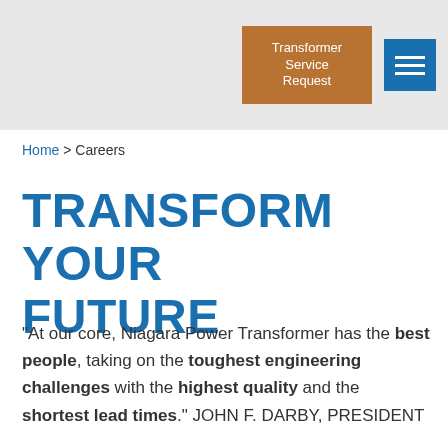Transformer Service Request
Home > Careers
TRANSFORM YOUR FUTURE
“At our core, Niagara Power Transformer has the best people, taking on the toughest engineering challenges with the highest quality and the shortest lead times.” JOHN F. DARBY, PRESIDENT